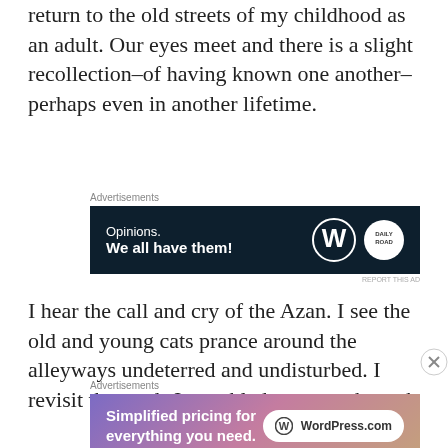return to the old streets of my childhood as an adult. Our eyes meet and there is a slight recollection–of having known one another–perhaps even in another lifetime.
[Figure (other): Advertisement banner: dark navy background with text 'Opinions. We all have them!' and WordPress and Daily logos on the right.]
I hear the call and cry of the Azan. I see the old and young cats prance around the alleyways undeterred and undisturbed. I revisit the roads I stumbled my way through
[Figure (other): Advertisement banner: gradient purple-pink-orange background with text 'Simplified pricing for everything you need.' and WordPress.com logo on the right.]